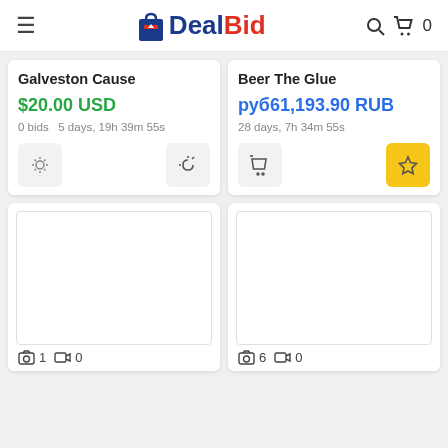DealBid
Galveston Cause
$20.00 USD
0 bids   5 days, 19h 39m 55s
Beer The Glue
руб1,193.90 RUB
28 days, 7h 34m 55s
[Figure (screenshot): Product image placeholder with camera icon showing '1' and video icon showing '0']
[Figure (screenshot): Product image placeholder with camera icon showing '6' and video icon showing '0']